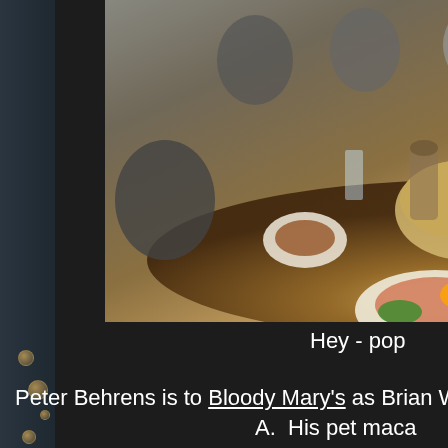[Figure (photo): Group of people sitting around a long wooden dining table with food, drinks, bread, and plates. Indoor restaurant or home setting.]
Hey - pop
Peter Behrens is to Bloody Mary's as Brian Ward is to _
A.  His pet maca